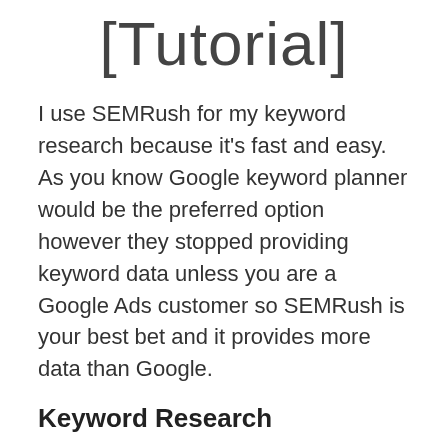[Tutorial]
I use SEMRush for my keyword research because it's fast and easy. As you know Google keyword planner would be the preferred option however they stopped providing keyword data unless you are a Google Ads customer so SEMRush is your best bet and it provides more data than Google.
Keyword Research
[Figure (other): Broken image placeholder labeled 'ezgif.com video to gif']
Most bloggers myself included initially start off